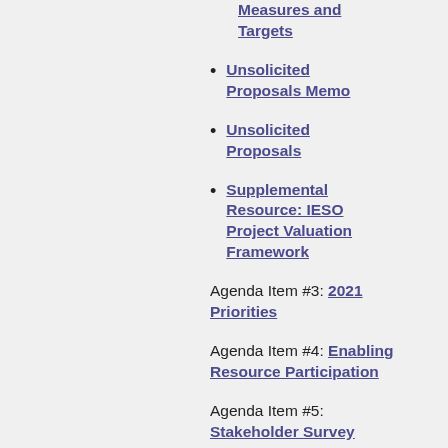Measures and Targets
Unsolicited Proposals Memo
Unsolicited Proposals
Supplemental Resource: IESO Project Valuation Framework
Agenda Item #3: 2021 Priorities
Agenda Item #4: Enabling Resource Participation
Agenda Item #5: Stakeholder Survey